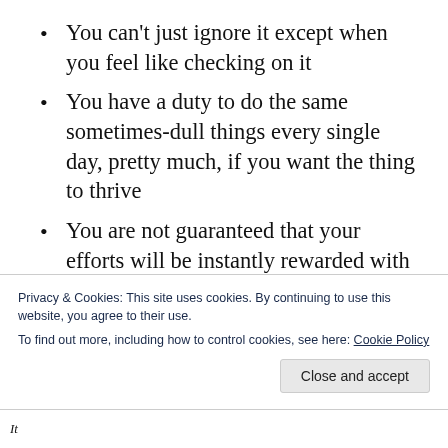You can't just ignore it except when you feel like checking on it
You have a duty to do the same sometimes-dull things every single day, pretty much, if you want the thing to thrive
You are not guaranteed that your efforts will be instantly rewarded with abundant flourishing
Repeatedly doing the same sometimes-dull things does indeed result in transformation
Privacy & Cookies: This site uses cookies. By continuing to use this website, you agree to their use.
To find out more, including how to control cookies, see here: Cookie Policy
Close and accept
It